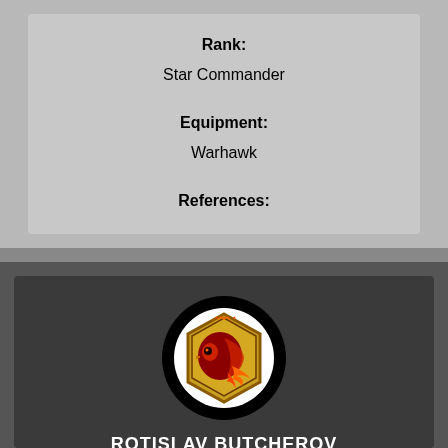Rank:
Star Commander
Equipment:
Warhawk
References:
[Figure (illustration): Circular avatar with black border containing a hexagonal clan emblem on yellow/gold background with a red bird/phoenix head and flames]
ROTISLAV BUTCHEROV
Clan Hell's Horses